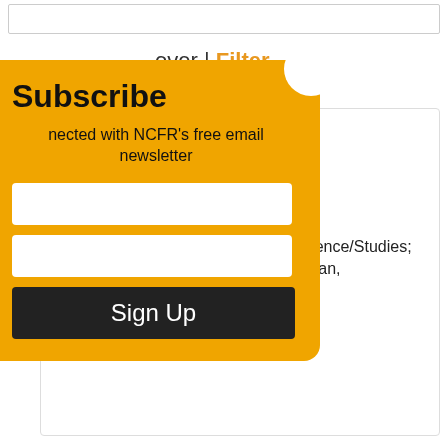over | Filter
c and Family Studies
y
New York-Oneonta
5,000-10,000
Human Development and Family Science/Studies; Development (child, adolescent, human, gerontology, or family)
✓ CFLE Approved
Subscribe
nnected with NCFR's free email newsletter
Sign Up